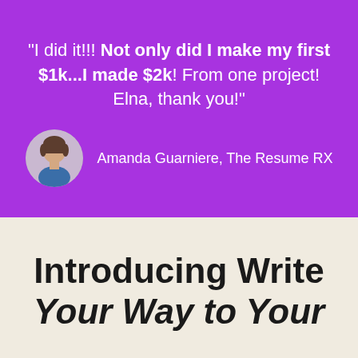"I did it!!! Not only did I make my first $1k...I made $2k! From one project! Elna, thank you!"
[Figure (photo): Circular avatar photo of Amanda Guarniere]
Amanda Guarniere, The Resume RX
Introducing Write Your Way to Your